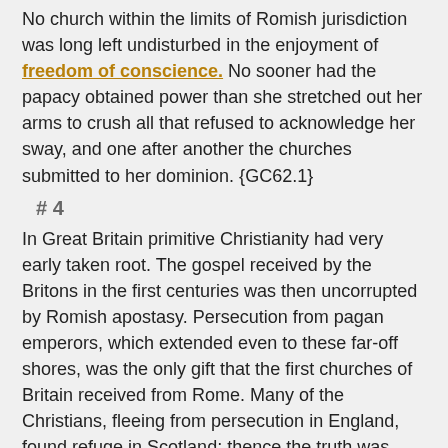No church within the limits of Romish jurisdiction was long left undisturbed in the enjoyment of freedom of conscience. No sooner had the papacy obtained power than she stretched out her arms to crush all that refused to acknowledge her sway, and one after another the churches submitted to her dominion. {GC62.1}
# 4
In Great Britain primitive Christianity had very early taken root. The gospel received by the Britons in the first centuries was then uncorrupted by Romish apostasy. Persecution from pagan emperors, which extended even to these far-off shores, was the only gift that the first churches of Britain received from Rome. Many of the Christians, fleeing from persecution in England, found refuge in Scotland; thence the truth was carried to Ireland, and in all these countries it was received with gladness. {GC62.2}
# 5
When the Saxons invaded Britain, heathenism gained control. The conquerors disdained to be instructed by their slaves, and the Christians were forced to retreat to the mountains and the wild moors. Yet the light, hidden for a time, continued to burn. In Scotland, a century later, it shone out with a brightness that extended to far-distant lands. From Ireland came the pious